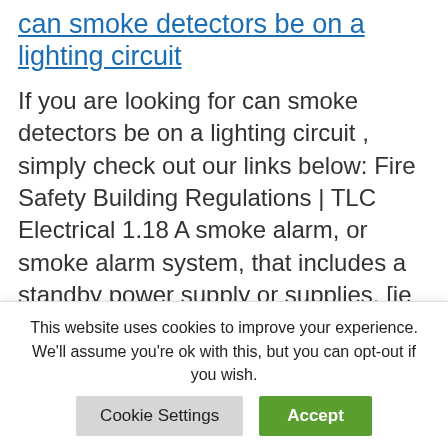can smoke detectors be on a lighting circuit
If you are looking for can smoke detectors be on a lighting circuit , simply check out our links below: Fire Safety Building Regulations | TLC Electrical 1.18 A smoke alarm, or smoke alarm system, that includes a standby power supply or supplies, [ie AC with battery back up], can operate during mains failure. It … Read
This website uses cookies to improve your experience. We'll assume you're ok with this, but you can opt-out if you wish.